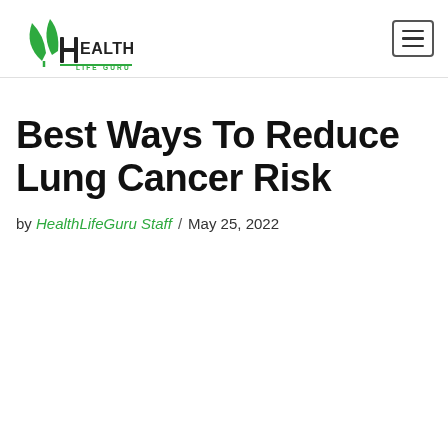[Figure (logo): Health Life Guru logo with two green leaves and stylized H with text HEALTH LIFE GURU]
Best Ways To Reduce Lung Cancer Risk
by HealthLifeGuru Staff / May 25, 2022